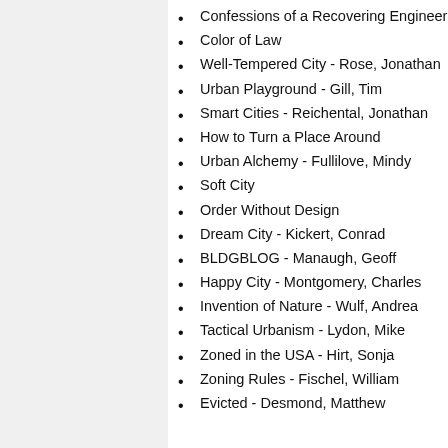Confessions of a Recovering Engineer
Color of Law
Well-Tempered City - Rose, Jonathan
Urban Playground - Gill, Tim
Smart Cities - Reichental, Jonathan
How to Turn a Place Around
Urban Alchemy - Fullilove, Mindy
Soft City
Order Without Design
Dream City - Kickert, Conrad
BLDGBLOG - Manaugh, Geoff
Happy City - Montgomery, Charles
Invention of Nature - Wulf, Andrea
Tactical Urbanism - Lydon, Mike
Zoned in the USA - Hirt, Sonja
Zoning Rules - Fischel, William
Evicted - Desmond, Matthew